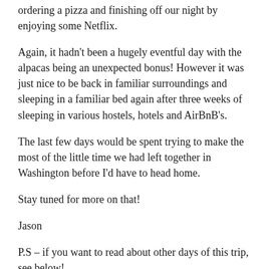ordering a pizza and finishing off our night by enjoying some Netflix.
Again, it hadn't been a hugely eventful day with the alpacas being an unexpected bonus! However it was just nice to be back in familiar surroundings and sleeping in a familiar bed again after three weeks of sleeping in various hostels, hotels and AirBnB's.
The last few days would be spent trying to make the most of the little time we had left together in Washington before I'd have to head home.
Stay tuned for more on that!
Jason
P.S – if you want to read about other days of this trip, see below!